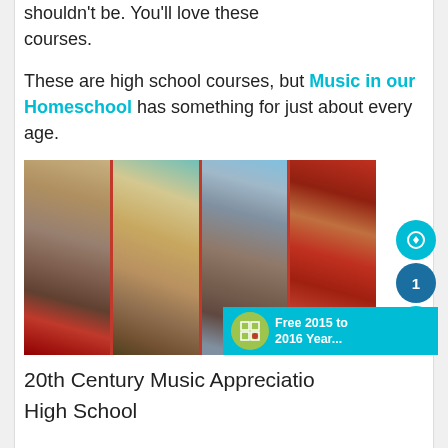shouldn't be. You'll love these courses.
These are high school courses, but Music in our Homeschool has something for just about every age.
[Figure (photo): A collage of four classical music venue photos: a grand concert hall exterior with columns and red carpet, an ornate glass-domed hall interior, a statue of a composer outdoors, and red theater seating interior.]
20th Century Music Appreciation High School